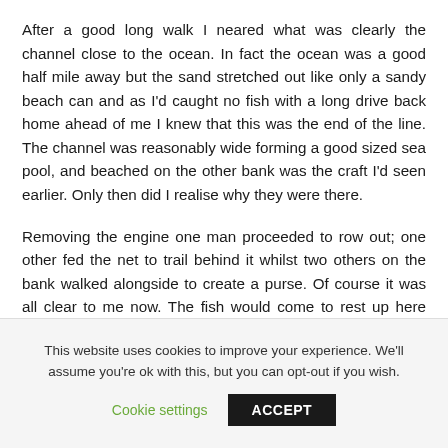After a good long walk I neared what was clearly the channel close to the ocean. In fact the ocean was a good half mile away but the sand stretched out like only a sandy beach can and as I'd caught no fish with a long drive back home ahead of me I knew that this was the end of the line. The channel was reasonably wide forming a good sized sea pool, and beached on the other bank was the craft I'd seen earlier. Only then did I realise why they were there.
Removing the engine one man proceeded to row out; one other fed the net to trail behind it whilst two others on the bank walked alongside to create a purse. Of course it was all clear to me now. The fish would come to rest up here waiting for the flooding tide.
This website uses cookies to improve your experience. We'll assume you're ok with this, but you can opt-out if you wish. Cookie settings ACCEPT